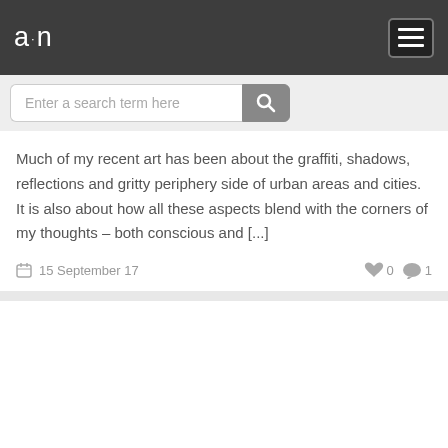a·n
Enter a search term here
Much of my recent art has been about the graffiti, shadows, reflections and gritty periphery side of urban areas and cities. It is also about how all these aspects blend with the corners of my thoughts – both conscious and [...]
15 September 17  👍 0  💬 1
[Figure (other): Empty white card placeholder]